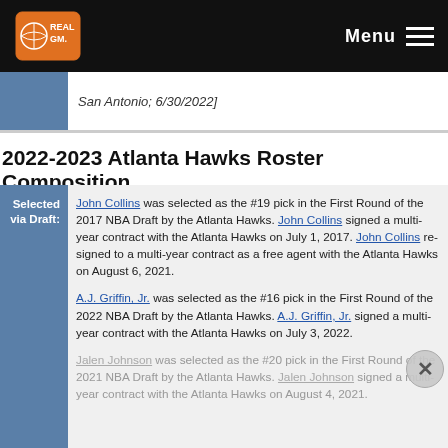RealGM — Menu
San Antonio; 6/30/2022]
2022-2023 Atlanta Hawks Roster Composition
Selected via Draft:
John Collins was selected as the #19 pick in the First Round of the 2017 NBA Draft by the Atlanta Hawks. John Collins signed a multi-year contract with the Atlanta Hawks on July 1, 2017. John Collins re-signed to a multi-year contract as a free agent with the Atlanta Hawks on August 6, 2021.
A.J. Griffin, Jr. was selected as the #16 pick in the First Round of the 2022 NBA Draft by the Atlanta Hawks. A.J. Griffin, Jr. signed a multi-year contract with the Atlanta Hawks on July 3, 2022.
Jalen Johnson was selected as the #20 pick in the First Round of the 2021 NBA Draft by the Atlanta Hawks. Jalen Johnson signed a multi-year contract with the Atlanta Hawks on August 4, 2021.